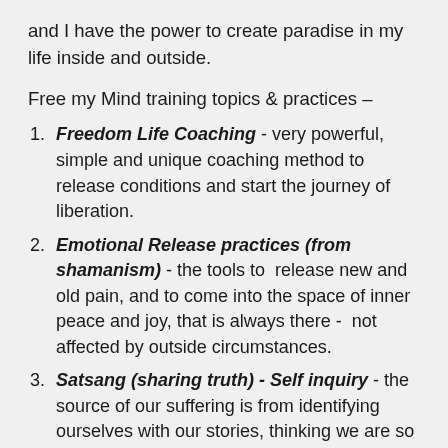and I have the power to create paradise in my life inside and outside.
Free my Mind training topics & practices –
Freedom Life Coaching - very powerful, simple and unique coaching method to release conditions and start the journey of liberation.
Emotional Release practices (from shamanism) - the tools to release new and old pain, and to come into the space of inner peace and joy, that is always there - not affected by outside circumstances.
Satsang (sharing truth) - Self inquiry - the source of our suffering is from identifying ourselves with our stories, thinking we are so limited as our personality. Satsang is coming to realise the Truth